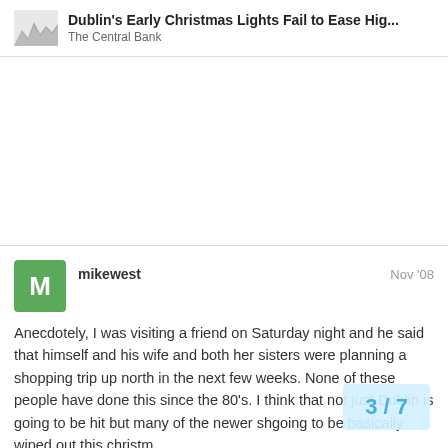Dublin's Early Christmas Lights Fail to Ease Hig... — The Central Bank
mikewest Nov '08
Anecdotely, I was visiting a friend on Saturday night and he said that himself and his wife and both her sisters were planning a shopping trip up north in the next few weeks. None of these people have done this since the 80's. I think that not just Dublin is going to be hit but many of the newer sh going to be basically wiped out this christm
3 / 7